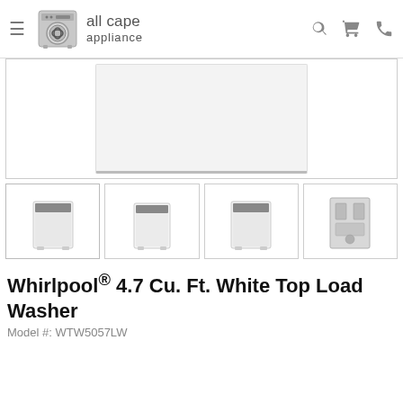all cape appliance — navigation header with logo, search, cart, and phone icons
[Figure (photo): Main product display area showing a Whirlpool top load washer — large white appliance on white background]
[Figure (photo): Four product thumbnail images of the Whirlpool top load washer from different angles: front-left, front, front-right, and back/interior view]
Whirlpool® 4.7 Cu. Ft. White Top Load Washer
Model #: WTW5057LW